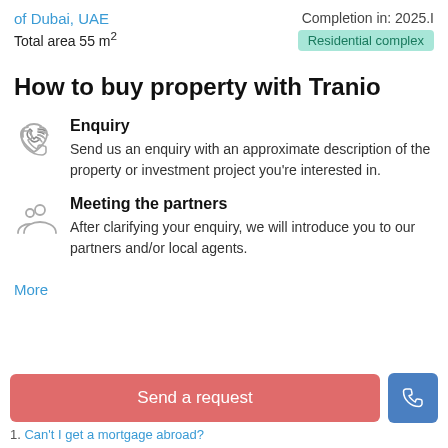of Dubai, UAE
Total area 55 m²
Completion in: 2025.I
Residential complex
How to buy property with Tranio
Enquiry
Send us an enquiry with an approximate description of the property or investment project you're interested in.
Meeting the partners
After clarifying your enquiry, we will introduce you to our partners and/or local agents.
More
Send a request
Can't I get a mortgage abroad?